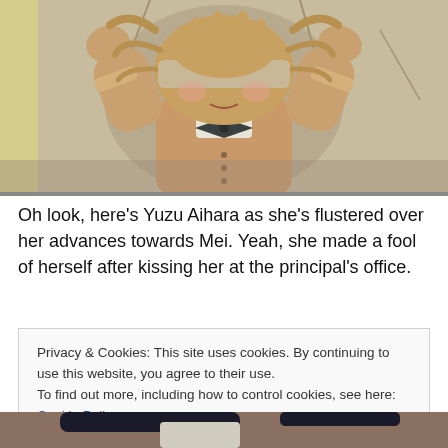[Figure (illustration): Anime screenshot of Yuzu Aihara character with hands on head against a wall, wearing a school uniform with a dark bow tie, looking flustered.]
Oh look, here's Yuzu Aihara as she's flustered over her advances towards Mei. Yeah, she made a fool of herself after kissing her at the principal's office.
Privacy & Cookies: This site uses cookies. By continuing to use this website, you agree to their use.
To find out more, including how to control cookies, see here: Cookie Policy
[Figure (illustration): Bottom portion of another anime screenshot, partially visible.]